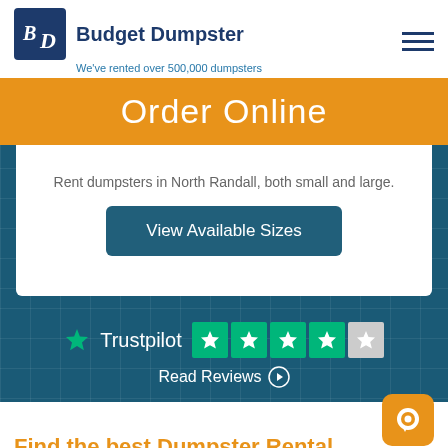[Figure (logo): Budget Dumpster logo with BD monogram in a dark blue square, followed by 'Budget Dumpster' brand name]
We've rented over 500,000 dumpsters
Order Online
Rent dumpsters in North Randall, both small and large.
View Available Sizes
[Figure (infographic): Trustpilot rating with 4 green star boxes and 1 gray star box, showing approximately 4 out of 5 stars]
Read Reviews ❯
Find the best Dumpster Rental